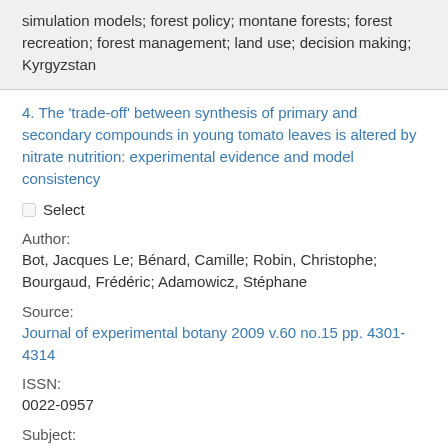simulation models; forest policy; montane forests; forest recreation; forest management; land use; decision making; Kyrgyzstan
4. The 'trade-off' between synthesis of primary and secondary compounds in young tomato leaves is altered by nitrate nutrition: experimental evidence and model consistency
Select
Author:
Bot, Jacques Le; Bénard, Camille; Robin, Christophe; Bourgaud, Frédéric; Adamowicz, Stéphane
Source:
Journal of experimental botany 2009 v.60 no.15 pp. 4301-4314
ISSN:
0022-0957
Subject: